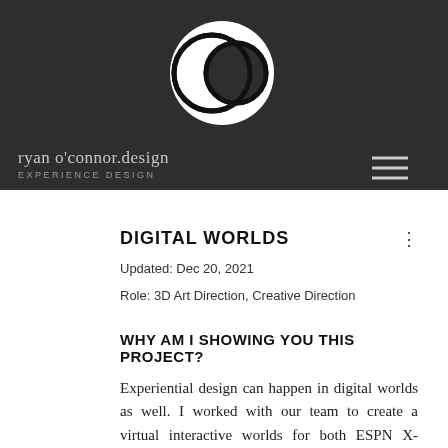[Figure (logo): Two overlapping circles logo (yin-yang style) in white on dark background]
ryan o'connor.design
EXPERIENCE DESIGN
DIGITAL WORLDS
Updated: Dec 20, 2021
Role: 3D Art Direction, Creative Direction
WHY AM I SHOWING YOU THIS PROJECT?
Experiential design can happen in digital worlds as well. I worked with our team to create a virtual interactive worlds for both ESPN X-Games fans and Acthar staff to